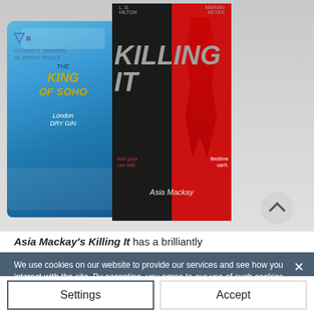[Figure (photo): Photo showing a blue King of Soho London Dry Gin bottle next to two books: 'Killing It' by Asia Mackay (black and red cover) and another book. Comedy Women in Print Prize logo visible top left. A scroll-up button visible bottom right of the image.]
Asia Mackay's Killing It has a brilliantly
We use cookies on our website to provide our services and see how you interact with the site. By accepting, you agree to our use of such cookies. Privacy & Data Policy
Settings
Accept